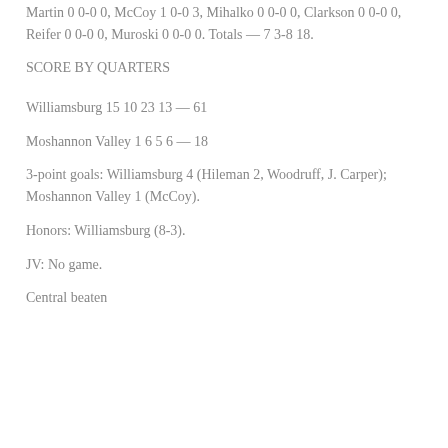Martin 0 0-0 0, McCoy 1 0-0 3, Mihalko 0 0-0 0, Clarkson 0 0-0 0, Reifer 0 0-0 0, Muroski 0 0-0 0. Totals — 7 3-8 18.
SCORE BY QUARTERS
Williamsburg 15 10 23 13 — 61
Moshannon Valley 1 6 5 6 — 18
3-point goals: Williamsburg 4 (Hileman 2, Woodruff, J. Carper); Moshannon Valley 1 (McCoy).
Honors: Williamsburg (8-3).
JV: No game.
Central beaten